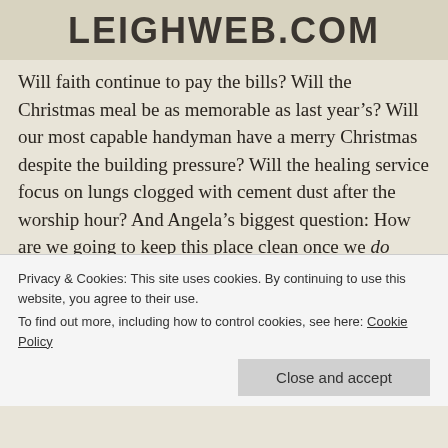LEIGHWEB.COM
Will faith continue to pay the bills? Will the Christmas meal be as memorable as last year’s? Will our most capable handyman have a merry Christmas despite the building pressure? Will the healing service focus on lungs clogged with cement dust after the worship hour? And Angela’s biggest question: How are we going to keep this place clean once we do have flooring??? (see Nov 06 newsletter) While waiting for the answers to these burning questions, please feel free to pray, give, or come on over to help with this wonderful undertaking!
Privacy & Cookies: This site uses cookies. By continuing to use this website, you agree to their use.
To find out more, including how to control cookies, see here: Cookie Policy
Close and accept